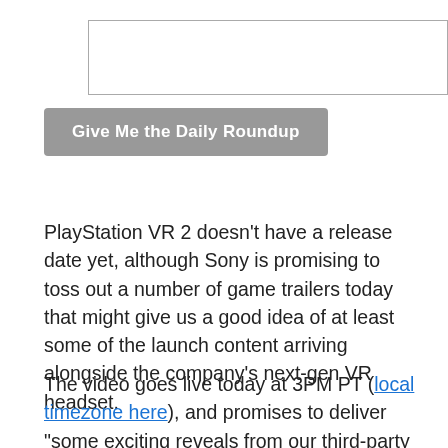[Figure (other): Email address text input field]
Give Me the Daily Roundup
PlayStation VR 2 doesn't have a release date yet, although Sony is promising to toss out a number of game trailers today that might give us a good idea of at least some of the launch content arriving alongside the company's next-gen VR headset.
The video goes live today at 3PM PT (local timezone here), and promises to deliver "some exciting reveals from our third-party partners, plus a sneak peek at several